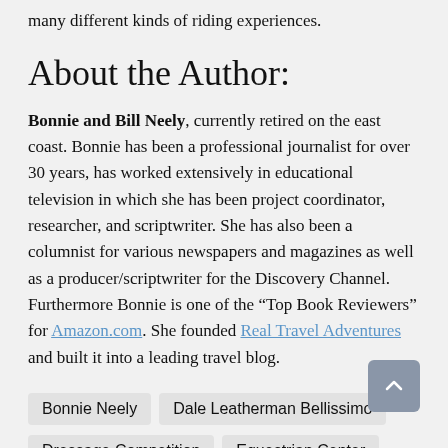many different kinds of riding experiences.
About the Author:
Bonnie and Bill Neely, currently retired on the east coast. Bonnie has been a professional journalist for over 30 years, has worked extensively in educational television in which she has been project coordinator, researcher, and scriptwriter. She has also been a columnist for various newspapers and magazines as well as a producer/scriptwriter for the Discovery Channel. Furthermore Bonnie is one of the “Top Book Reviewers” for Amazon.com. She founded Real Travel Adventures and built it into a leading travel blog.
Bonnie Neely
Dale Leatherman Bellissimo
Dressage Competition
Equestrian Center
FEI World Equestrian Games
Lisa Lourie